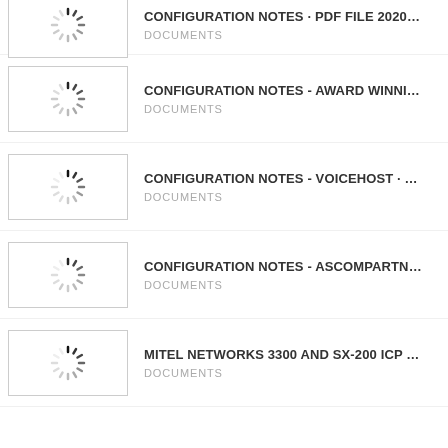CONFIGURATION NOTES · PDF FILE 2020... — DOCUMENTS
CONFIGURATION NOTES - AWARD WINNI... — DOCUMENTS
CONFIGURATION NOTES - VOICEHOST · ... — DOCUMENTS
CONFIGURATION NOTES - ASCOMPARTN... — DOCUMENTS
MITEL NETWORKS 3300 AND SX-200 ICP ... — DOCUMENTS